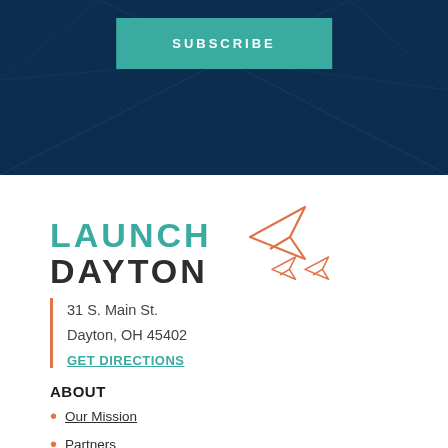[Figure (screenshot): Dark navy blue hero banner background with geometric network pattern lines]
SUBSCRIBE
[Figure (logo): Launch Dayton logo with teal LAUNCH text and dark DAYTON text, accompanied by orange paper airplane icons]
31 S. Main St.
Dayton, OH 45402
GET DIRECTIONS
ABOUT
RESOURCES
Our Mission
Partners
Resource Map
Launch Dayton